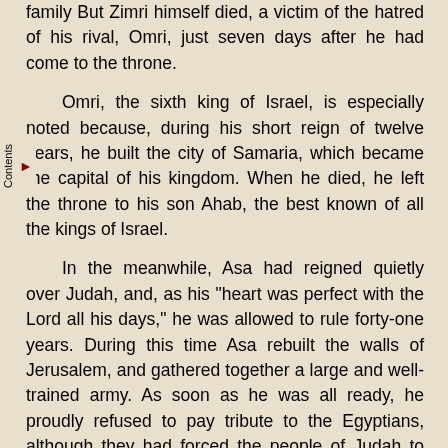family But Zimri himself died, a victim of the hatred of his rival, Omri, just seven days after he had come to the throne.
Omri, the sixth king of Israel, is especially noted because, during his short reign of twelve years, he built the city of Samaria, which became the capital of his kingdom. When he died, he left the throne to his son Ahab, the best known of all the kings of Israel.
In the meanwhile, Asa had reigned quietly over Judah, and, as his "heart was perfect with the Lord all his days," he was allowed to rule forty-one years. During this time Asa rebuilt the walls of Jerusalem, and gathered together a large and well-trained army. As soon as he was all ready, he proudly refused to pay tribute to the Egyptians, although they had forced the people of Judah to make a yearly payment ever since they had entered Jerusalem during the reign of Rehoboam.